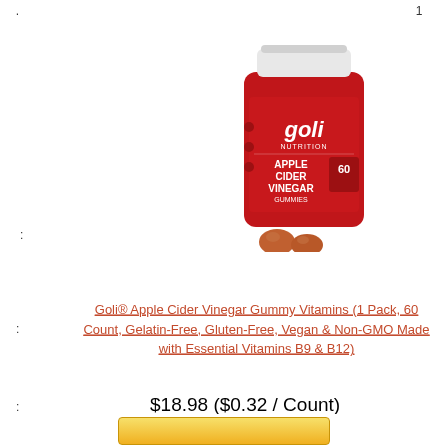. 1
[Figure (photo): Red bottle of Goli Apple Cider Vinegar Gummy Vitamins with white cap, with two gummy candies in front]
:
: Goli® Apple Cider Vinegar Gummy Vitamins (1 Pack, 60 Count, Gelatin-Free, Gluten-Free, Vegan & Non-GMO Made with Essential Vitamins B9 & B12)
: $18.98 ($0.32 / Count)
[Figure (logo): Amazon logo (orange arrow)]
[Figure (other): Yellow buy button]